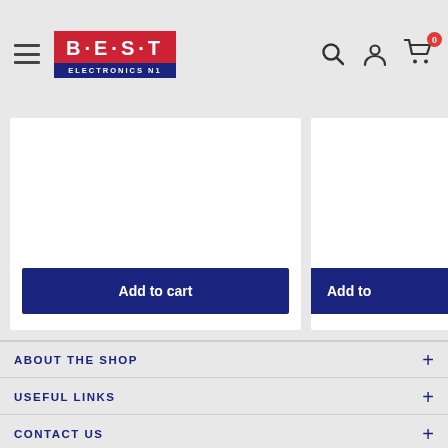[Figure (logo): BEST Electronics N1 logo - red background with white bold text B·E·S·T and dark blue bar below reading ELECTRONICS N1]
Add to cart
Add to
ABOUT THE SHOP
USEFUL LINKS
CONTACT US
NEWSLETTER